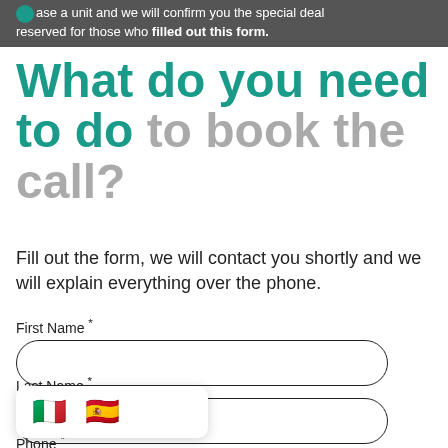purchase a unit and we will confirm you the special deal reserved for those who filled out this form.
What do you need to do to book the call?
Fill out the form, we will contact you shortly and we will explain everything over the phone.
First Name *
Last Name *
Phone *